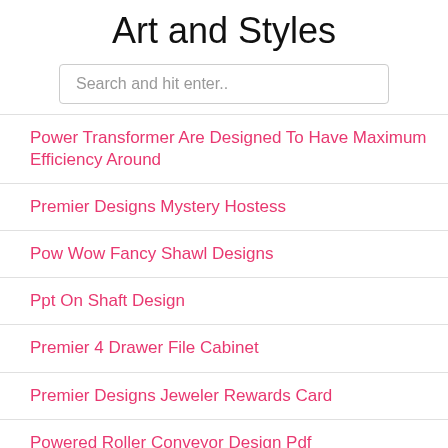Art and Styles
Search and hit enter..
Power Transformer Are Designed To Have Maximum Efficiency Around
Premier Designs Mystery Hostess
Pow Wow Fancy Shawl Designs
Ppt On Shaft Design
Premier 4 Drawer File Cabinet
Premier Designs Jeweler Rewards Card
Powered Roller Conveyor Design Pdf
Power Weapon In Tutorial Armory
Prana Designs By Poornima